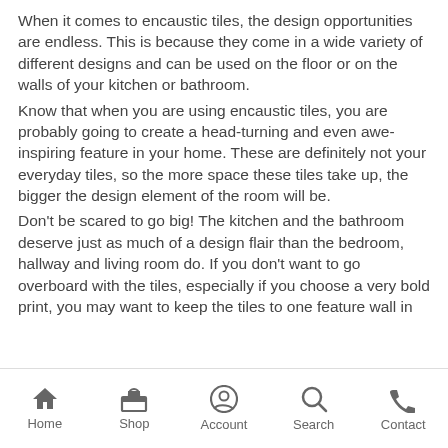When it comes to encaustic tiles, the design opportunities are endless. This is because they come in a wide variety of different designs and can be used on the floor or on the walls of your kitchen or bathroom.
Know that when you are using encaustic tiles, you are probably going to create a head-turning and even awe-inspiring feature in your home. These are definitely not your everyday tiles, so the more space these tiles take up, the bigger the design element of the room will be.
Don't be scared to go big! The kitchen and the bathroom deserve just as much of a design flair than the bedroom, hallway and living room do. If you don't want to go overboard with the tiles, especially if you choose a very bold print, you may want to keep the tiles to one feature wall in
Home  Shop  Account  Search  Contact